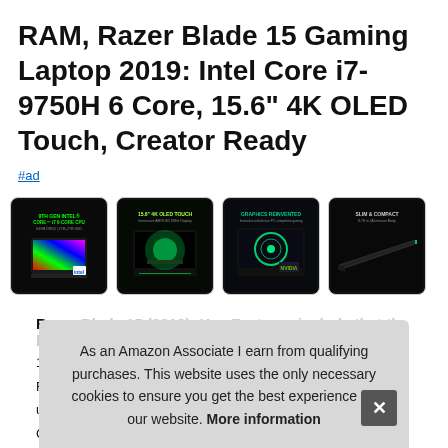RAM, Razer Blade 15 Gaming Laptop 2019: Intel Core i7-9750H 6 Core, 15.6" 4K OLED Touch, Creator Ready
#ad
[Figure (photo): Four product images of Razer Blade 15 Gaming Laptop showing different marketing shots: CPU spec, 4K OLED display, graphics, and slim profile views]
Raz
16.
Futu
upg
Cor
As an Amazon Associate I earn from qualifying purchases. This website uses the only necessary cookies to ensure you get the best experience on our website. More information